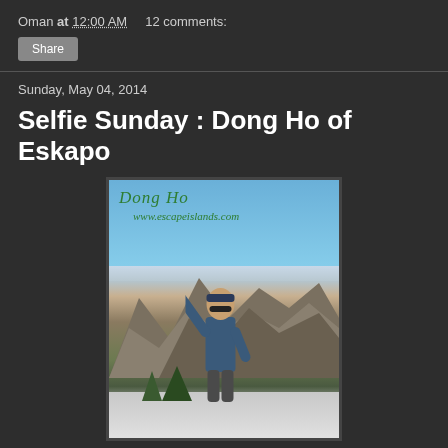Oman at 12:00 AM    12 comments:
Share
Sunday, May 04, 2014
Selfie Sunday : Dong Ho of Eskapo
[Figure (photo): Photo of a man in a blue jacket and sunglasses with a cap, posing with one arm raised outdoors on a mountain summit with rocky peaks in the background and snow on the ground. Text overlay reads 'Dong Ho' and 'www.escapeislands.com' in green italic font.]